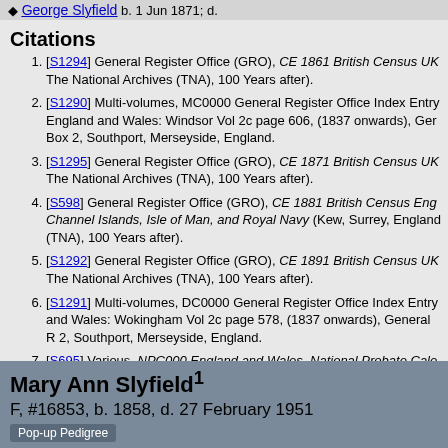George Slyfield  b. 1 Jun 1871, d.
Citations
[S1294] General Register Office (GRO), CE 1861 British Census UK The National Archives (TNA), 100 Years after).
[S1290] Multi-volumes, MC0000 General Register Office Index Entry England and Wales: Windsor Vol 2c page 606, (1837 onwards), Ger Box 2, Southport, Merseyside, England.
[S1295] General Register Office (GRO), CE 1871 British Census UK The National Archives (TNA), 100 Years after).
[S598] General Register Office (GRO), CE 1881 British Census Eng Channel Islands, Isle of Man, and Royal Navy (Kew, Surrey, England (TNA), 100 Years after).
[S1292] General Register Office (GRO), CE 1891 British Census UK The National Archives (TNA), 100 Years after).
[S1291] Multi-volumes, DC0000 General Register Office Index Entry and Wales: Wokingham Vol 2c page 578, (1837 onwards), General R 2, Southport, Merseyside, England.
[S695] Various, NPC000 England and Wales, National Probate Cale Administrations), 1858-current (http://www.hmcourts-service.gov.uk/ Majesty's Court Service: Probate Registry, 1858-current).
Mary Ann Slyfield1
F, #16853, b. 1858, d. 27 February 1951
Pop-up Pedigree